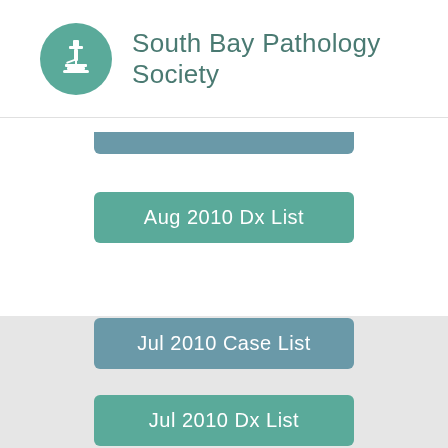South Bay Pathology Society
[Figure (other): Partially visible button at top of white section, truncated]
Aug 2010 Dx List
Jul 2010 Case List
Jul 2010 Dx List